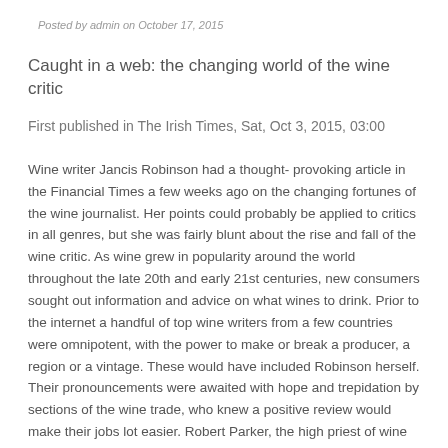Posted by admin on October 17, 2015
Caught in a web: the changing world of the wine critic
First published in The Irish Times, Sat, Oct 3, 2015, 03:00
Wine writer Jancis Robinson had a thought- provoking article in the Financial Times a few weeks ago on the changing fortunes of the wine journalist. Her points could probably be applied to critics in all genres, but she was fairly blunt about the rise and fall of the wine critic. As wine grew in popularity around the world throughout the late 20th and early 21st centuries, new consumers sought out information and advice on what wines to drink. Prior to the internet a handful of top wine writers from a few countries were omnipotent, with the power to make or break a producer, a region or a vintage. These would have included Robinson herself. Their pronouncements were awaited with hope and trepidation by sections of the wine trade, who knew a positive review would make their jobs lot easier. Robert Parker, the high priest of wine critics, went a step further, giving each wine marks out of 100. Not only was this far easier to understand, it also allowed consumers